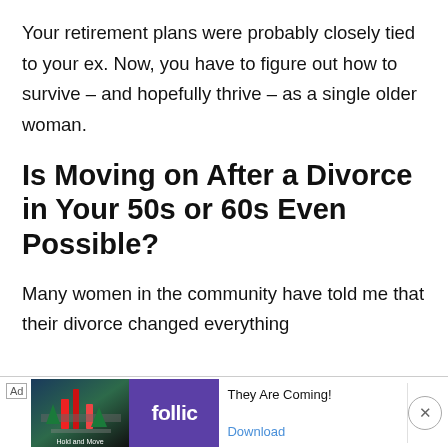Your retirement plans were probably closely tied to your ex. Now, you have to figure out how to survive – and hopefully thrive – as a single older woman.
Is Moving on After a Divorce in Your 50s or 60s Even Possible?
Many women in the community have told me that their divorce changed everything
[Figure (other): Advertisement banner at the bottom of the page. Contains 'Ad' label, a game screenshot thumbnail, 'follic' brand logo in purple, text 'They Are Coming!' and 'Download' link, and a close button.]